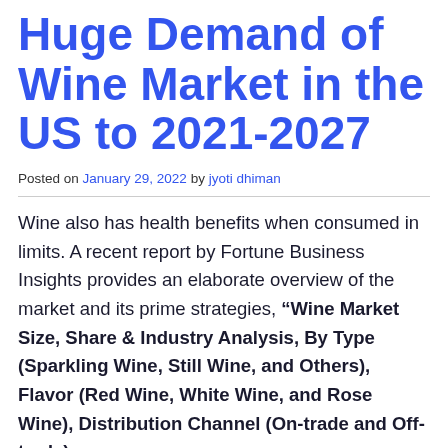Huge Demand of Wine Market in the US to 2021-2027
Posted on January 29, 2022 by jyoti dhiman
Wine also has health benefits when consumed in limits. A recent report by Fortune Business Insights provides an elaborate overview of the market and its prime strategies, “Wine Market Size, Share & Industry Analysis, By Type (Sparkling Wine, Still Wine, and Others), Flavor (Red Wine, White Wine, and Rose Wine), Distribution Channel (On-trade and Off-trade)